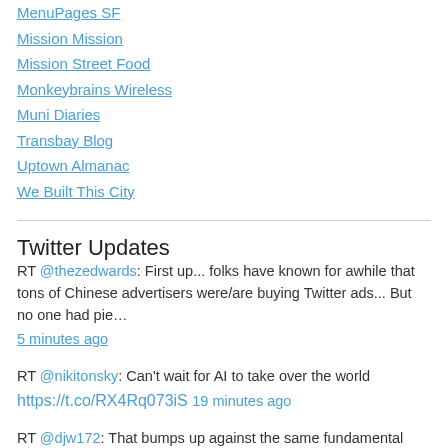MenuPages SF
Mission Mission
Mission Street Food
Monkeybrains Wireless
Muni Diaries
Transbay Blog
Uptown Almanac
We Built This City
Twitter Updates
RT @thezedwards: First up... folks have known for awhile that tons of Chinese advertisers were/are buying Twitter ads... But no one had pie… 5 minutes ago
RT @nikitonsky: Can't wait for AI to take over the world https://t.co/RX4Rq073iS 19 minutes ago
RT @djw172: That bumps up against the same fundamental problem as designing a proper regulatory/tax framework for SUVs, of course: